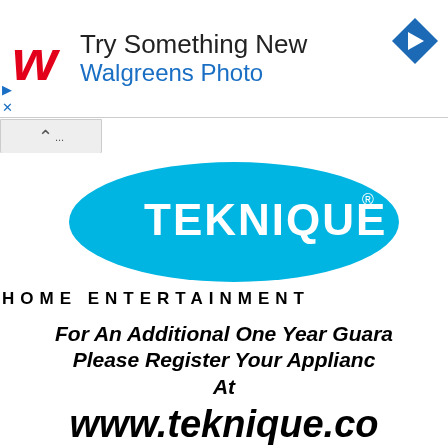[Figure (logo): Walgreens ad banner with Walgreens W logo, text 'Try Something New Walgreens Photo', navigation arrow icon, play and close controls]
[Figure (logo): Teknique brand logo - white TEKNIQUE text on large cyan/blue ellipse]
HOME ENTERTAINMENT
For An Additional One Year Guara Please Register Your Applianc At
www.teknique.co
and enjoy the peace of mind